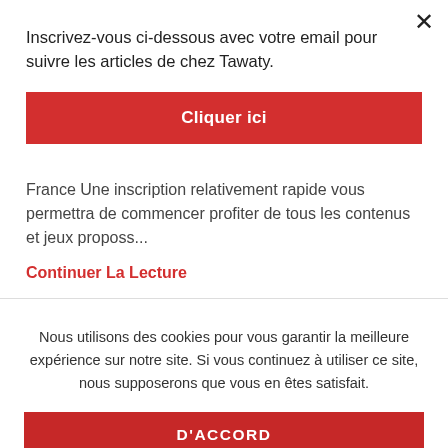Inscrivez-vous ci-dessous avec votre email pour suivre les articles de chez Tawaty.
[Figure (other): Red button labeled 'Cliquer ici' — email subscription CTA]
France Une inscription relativement rapide vous permettra de commencer profiter de tous les contenus et jeux proposs...
Continuer La Lecture
Nous utilisons des cookies pour vous garantir la meilleure expérience sur notre site. Si vous continuez à utiliser ce site, nous supposerons que vous en êtes satisfait.
[Figure (other): Red button labeled "D'ACCORD" — cookie consent CTA]
11 month installment loans